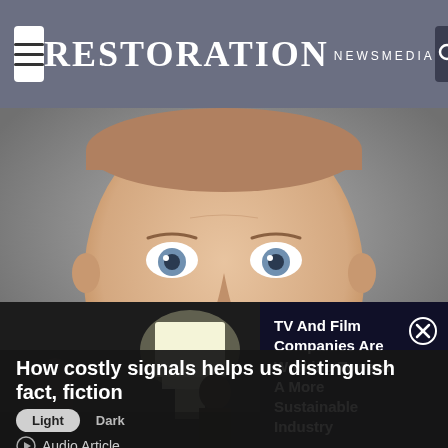RESTORATION NEWSMEDIA
[Figure (photo): Close-up headshot of a smiling man with short hair and blue eyes, looking directly at the camera. Light grey background.]
[Figure (photo): Video thumbnail showing a film set with a bright studio light and people in a dark background.]
TV And Film Companies Are Working Toward A More Sustainable Industry
How costly signals helps us distinguish fact, fiction
Audio Article